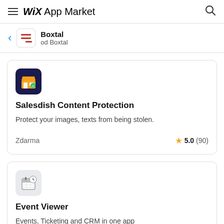WiX App Market
Boxtal od Boxtal
Salesdish Content Protection
Protect your images, texts from being stolen.
Zdarma  5.0 (90)
Event Viewer
Events, Ticketing and CRM in one app